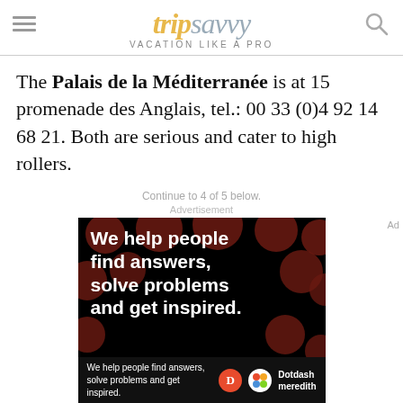tripsavvy VACATION LIKE A PRO
The Palais de la Méditerranée is at 15 promenade des Anglais, tel.: 00 33 (0)4 92 14 68 21. Both are serious and cater to high rollers.
Continue to 4 of 5 below.
Advertisement
[Figure (photo): Advertisement banner showing 'We help people find answers, solve problems and get inspired.' on dark background with red polka dots, with Dotdash Meredith branding at bottom.]